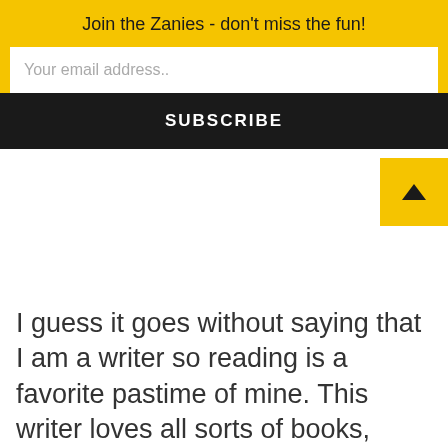Join the Zanies - don't miss the fun!
Your email address..
SUBSCRIBE
I guess it goes without saying that I am a writer so reading is a favorite pastime of mine. This writer loves all sorts of books,